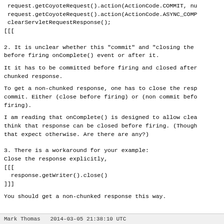request.getCoyoteRequest().action(ActionCode.COMMIT, nu
 request.getCoyoteRequest().action(ActionCode.ASYNC_COMP
 clearServletRequestResponse();
[[[
2. It is unclear whether this "commit" and "closing the
before firing onComplete() event or after it.
It it has to be committed before firing and closed after
chunked response.
To get a non-chunked response, one has to close the resp
commit. Either (close before firing) or (non commit befo
firing).
I am reading that onComplete() is designed to allow clea
think that response can be closed before firing. (Though
that expect otherwise. Are there are any?)
3. There is a workaround for your example:
Close the response explicitly,
[[[
  response.getWriter().close()
]]]
You should get a non-chunked response this way.
Mark Thomas   2014-03-05 21:38:10 UTC